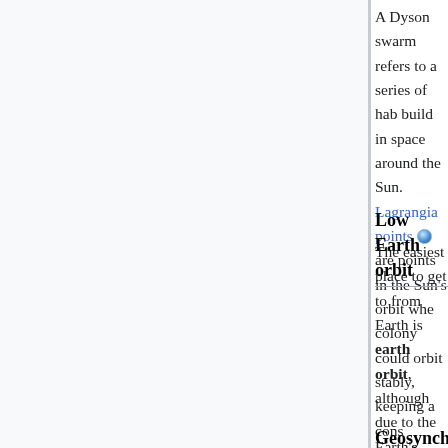A Dyson swarm refers to a series of hab build in space around the Sun. Lagrangian points are points in the Sun's orbit whe colony could orbit stably, keeping a cons comfortable distance from the Sun and t Earth.
Low Earth orbit
The easiest place to get to from Earth is earth orbit, although due to the Earth's strong gravitational pull it requires enorm amounts of energy to bring material up f the surface and one could not be classe self-sufficient here, however the views a pretty good. If we develop more efficient means of access to space than we curre have, low Earth orbit habitats become m feasible.
Geosynchronous orbit